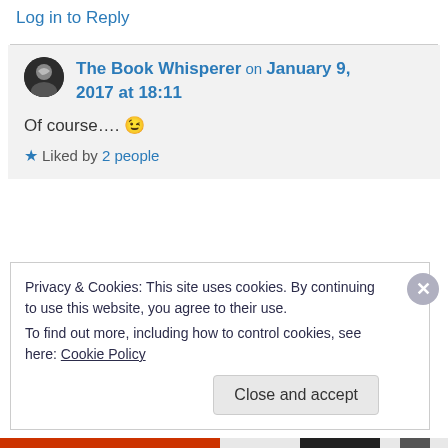Log in to Reply
The Book Whisperer on January 9, 2017 at 18:11
Of course…. 😉
★ Liked by 2 people
Privacy & Cookies: This site uses cookies. By continuing to use this website, you agree to their use.
To find out more, including how to control cookies, see here: Cookie Policy
Close and accept